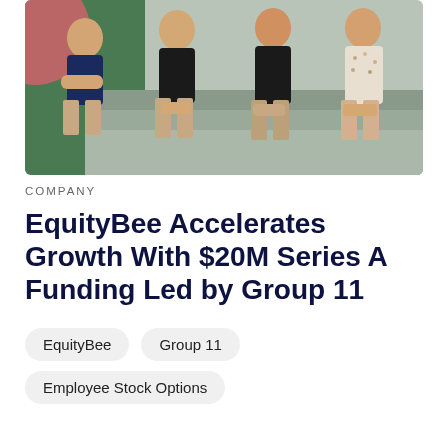[Figure (photo): Four young men sitting on steps, wearing casual clothes. Background shows green/teal wall. Group photo likely of startup team.]
COMPANY
EquityBee Accelerates Growth With $20M Series A Funding Led by Group 11
EquityBee
Group 11
Employee Stock Options